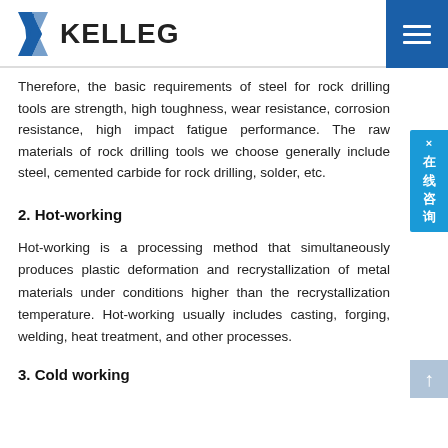KELLEG
Therefore, the basic requirements of steel for rock drilling tools are strength, high toughness, wear resistance, corrosion resistance, high impact fatigue performance. The raw materials of rock drilling tools we choose generally include steel, cemented carbide for rock drilling, solder, etc.
2. Hot-working
Hot-working is a processing method that simultaneously produces plastic deformation and recrystallization of metal materials under conditions higher than the recrystallization temperature. Hot-working usually includes casting, forging, welding, heat treatment, and other processes.
3. Cold working